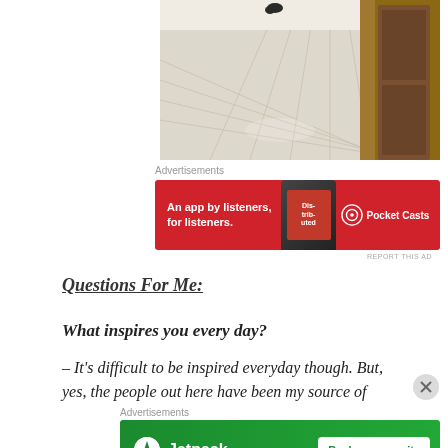[Figure (photo): Photo of a hallway with tiled floor and a dark wooden door on the right side, an animal (possibly a cat) visible in the distance at the top]
Advertisements
[Figure (other): Advertisement banner for Pocket Casts: 'An app by listeners, for listeners.' with Pocket Casts logo and phone image on red background]
REPORT THIS AD
Questions For Me:
What inspires you every day?
– It's difficult to be inspired everyday though. But, yes, the people out here have been my source of
Advertisements
[Figure (other): Advertisement banner for Jetpack: 'Back up your site' button on green background with Jetpack logo]